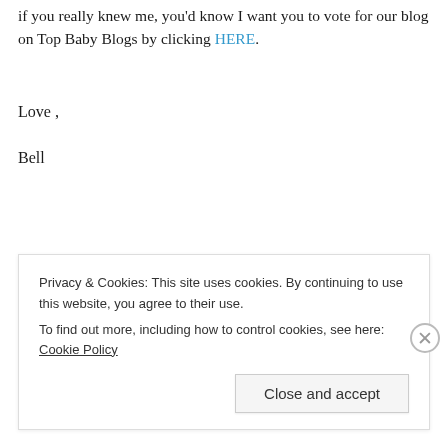if you really knew me, you'd know I want you to vote for our blog on Top Baby Blogs by clicking HERE.
Love ,
Bell
Privacy & Cookies: This site uses cookies. By continuing to use this website, you agree to their use.
To find out more, including how to control cookies, see here: Cookie Policy
Close and accept